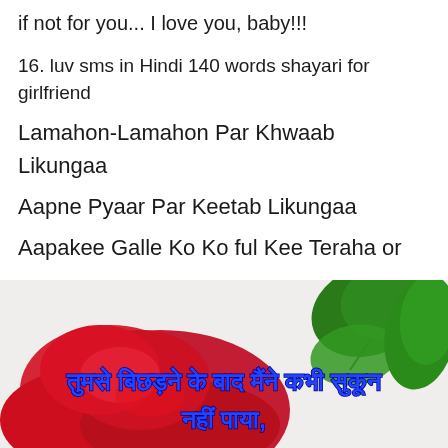if not for you... I love you, baby!!!
16. luv sms in Hindi 140 words shayari for girlfriend
Lamahon-Lamahon Par Khwaab Likungaa
Aapne Pyaar Par Keetab Likungaa
Aapakee Galle Ko Ko ful Kee Teraha or
Aapake Chehare Ko Gulaab Likhungaa...
[Figure (photo): Red rose with green leaf on light background, overlaid with Hindi text in blue bold font reading: tumse bichhaDne ke baad maine kabhi sukoon nahi paaya.]